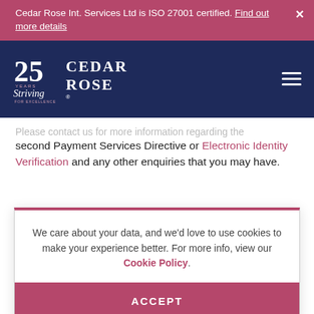Cedar Rose Int. Services Ltd is ISO 27001 certified. Find out more details
[Figure (logo): Cedar Rose 25 Years Striving for Excellence logo with navigation bar on dark navy background]
second Payment Services Directive or Electronic Identity Verification and any other enquiries that you may have.
We care about your data, and we'd love to use cookies to make your experience better. For more info, view our Cookie Policy.
ACCEPT
Image: Pixabay